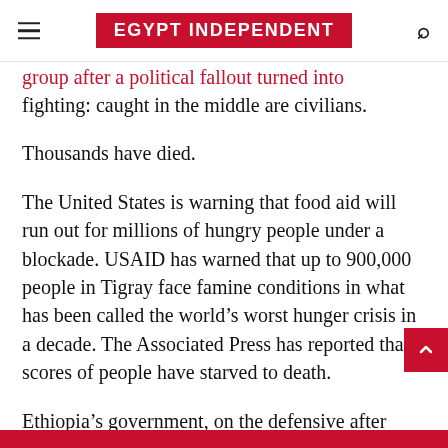EGYPT INDEPENDENT
group after a political fallout turned into fighting: caught in the middle are civilians.
Thousands have died.
The United States is warning that food aid will run out for millions of hungry people under a blockade. USAID has warned that up to 900,000 people in Tigray face famine conditions in what has been called the world's worst hunger crisis in a decade. The Associated Press has reported that scores of people have starved to death.
Ethiopia's government, on the defensive after resurgent Tigray forces retook much of the region in June, has accused humanitarian